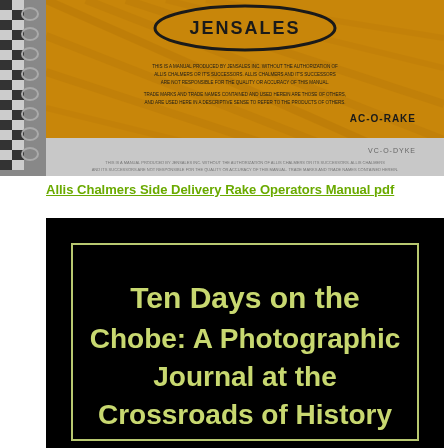[Figure (photo): Jensales manual cover for Allis Chalmers Side Delivery Rake, orange/yellow background with Jensales logo in oval, spiral binding on left, disclaimer text, AC-O-RAKE label]
Allis Chalmers Side Delivery Rake Operators Manual pdf
[Figure (photo): Book cover on black background with light yellow-green border and text: Ten Days on the Chobe: A Photographic Journal at the Crossroads of History]